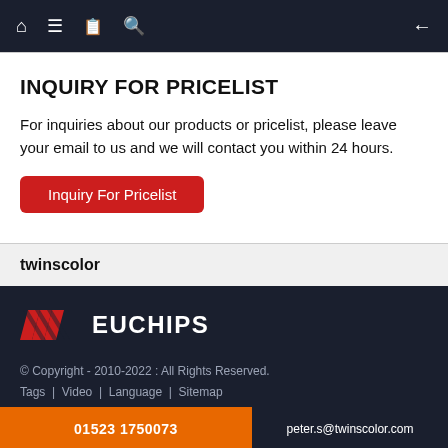Navigation bar with home, menu, book, search icons and back arrow
INQUIRY FOR PRICELIST
For inquiries about our products or pricelist, please leave your email to us and we will contact you within 24 hours.
Inquiry For Pricelist
twinscolor
[Figure (logo): Euchips logo with red chevron marks and white EUCHIPS text]
© Copyright - 2010-2022 : All Rights Reserved. Tags | Video | Language | Sitemap
01523 1750073
peter.s@twinscolor.com